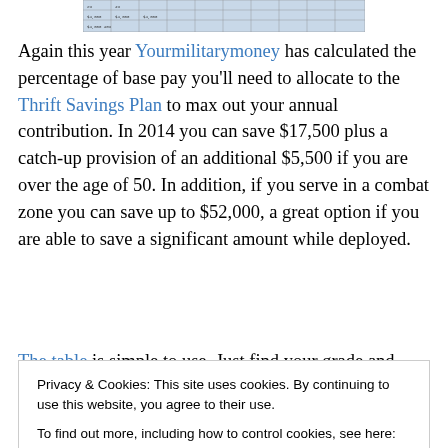[Figure (table-as-image): Partial view of a table showing base pay percentage data]
Again this year Yourmilitarymoney has calculated the percentage of base pay you'll need to allocate to the Thrift Savings Plan to max out your annual contribution. In 2014 you can save $17,500 plus a catch-up provision of an additional $5,500 if you are over the age of 50. In addition, if you serve in a combat zone you can save up to $52,000, a great option if you are able to save a significant amount while deployed.
The table is simple to use. Just find your grade and years
Privacy & Cookies: This site uses cookies. By continuing to use this website, you agree to their use.
To find out more, including how to control cookies, see here: Cookie Policy